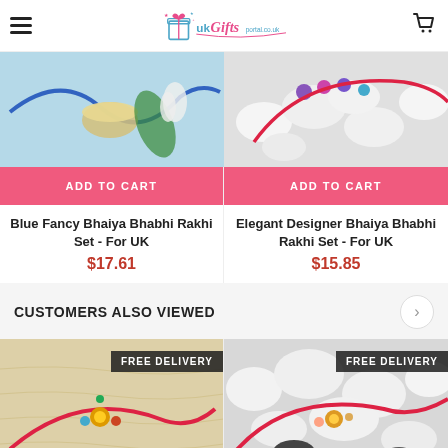UK Gifts Portal .co.uk
[Figure (photo): Blue rakhi set with rice bowl and flowers on blue background]
[Figure (photo): Elegant rakhi set with colorful beads on white pebbles background]
ADD TO CART
ADD TO CART
Blue Fancy Bhaiya Bhabhi Rakhi Set - For UK
$17.61
Elegant Designer Bhaiya Bhabhi Rakhi Set - For UK
$15.85
CUSTOMERS ALSO VIEWED
[Figure (photo): Rakhi with red thread and beads on fabric background, FREE DELIVERY badge]
[Figure (photo): Rakhi with red thread on white pebbles background, FREE DELIVERY badge]